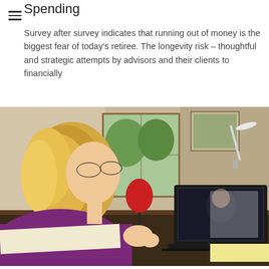Spending
Survey after survey indicates that running out of money is the biggest fear of today's retiree. The longevity risk – thoughtful and strategic attempts by advisors and their clients to financially
[Figure (photo): A blonde woman wearing glasses and a purple top sits at a desk speaking into a red ball microphone on a stand, with a laptop open in front of her showing a video call participant. The setting appears to be a home office.]